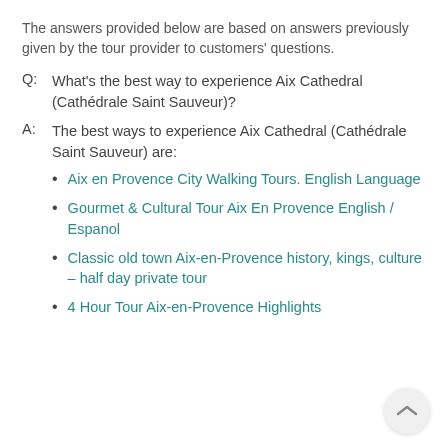The answers provided below are based on answers previously given by the tour provider to customers' questions.
Q:  What's the best way to experience Aix Cathedral (Cathédrale Saint Sauveur)?
A:  The best ways to experience Aix Cathedral (Cathédrale Saint Sauveur) are:
Aix en Provence City Walking Tours. English Language
Gourmet & Cultural Tour Aix En Provence English / Espanol
Classic old town Aix-en-Provence history, kings, culture - half day private tour
4 Hour Tour Aix-en-Provence Highlights